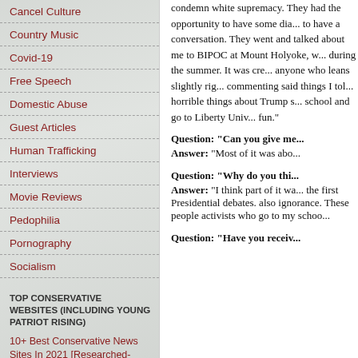Cancel Culture
Country Music
Covid-19
Free Speech
Domestic Abuse
Guest Articles
Human Trafficking
Interviews
Movie Reviews
Pedophilia
Pornography
Socialism
TOP CONSERVATIVE WEBSITES (INCLUDING YOUNG PATRIOT RISING)
10+ Best Conservative News Sites In 2021 [Researched-Based]
10 of the Best Conservative
condemn white supremacy. They had the opportunity to have some dialogue, to actually to have a conversation. They went and talked about me to BIPOC at Mount Holyoke, which happened during the summer. It was created to bully anyone who leans slightly right. People commenting said things I told you so, said horrible things about Trump supporters, said school and go to Liberty University and have fun."
Question: "Can you give me..."
Answer: "Most of it was abo..."
Question: "Why do you thi..."
Answer: "I think part of it wa... the first Presidential debates. also ignorance. These people activists who go to my schoo..."
Question: "Have you receiv..."